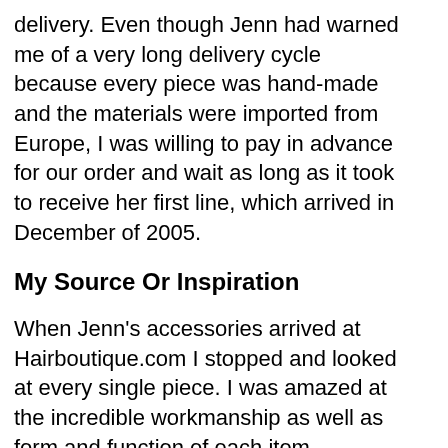delivery. Even though Jenn had warned me of a very long delivery cycle because every piece was hand-made and the materials were imported from Europe, I was willing to pay in advance for our order and wait as long as it took to receive her first line, which arrived in December of 2005.
My Source Or Inspiration
When Jenn's accessories arrived at Hairboutique.com I stopped and looked at every single piece. I was amazed at the incredible workmanship as well as form and function of each item.